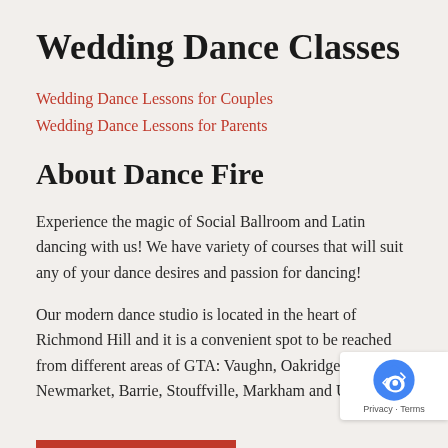Wedding Dance Classes
Wedding Dance Lessons for Couples
Wedding Dance Lessons for Parents
About Dance Fire
Experience the magic of Social Ballroom and Latin dancing with us! We have variety of courses that will suit any of your dance desires and passion for dancing!
Our modern dance studio is located in the heart of Richmond Hill and it is a convenient spot to be reached from different areas of GTA: Vaughn, Oakridge, Aurora, Newmarket, Barrie, Stouffville, Markham and Uxb…